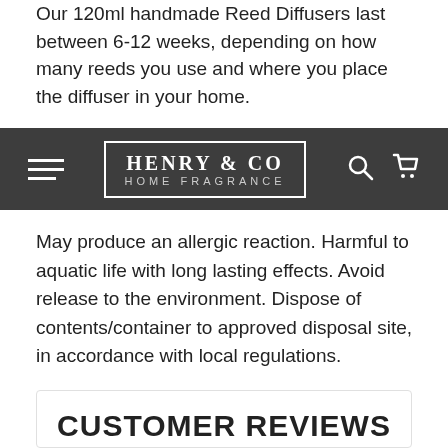Our 120ml handmade Reed Diffusers last between 6-12 weeks, depending on how many reeds you use and where you place the diffuser in your home.
[Figure (screenshot): Henry & Co Home Fragrance navigation bar with hamburger menu, logo, search and cart icons on dark grey background]
May produce an allergic reaction. Harmful to aquatic life with long lasting effects. Avoid release to the environment. Dispose of contents/container to approved disposal site, in accordance with local regulations.
Contains: 2,2-dimethyl-1,3-dioxolan-4-ylmethanol
Share
CUSTOMER REVIEWS